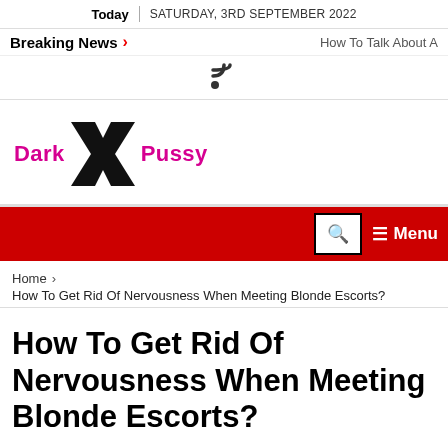Today | SATURDAY, 3RD SEPTEMBER 2022
Breaking News > How To Talk About A
[Figure (other): RSS feed icon]
[Figure (logo): Dark X Pussy logo with large black X and magenta text]
[Figure (other): Red navigation bar with search box and Menu button]
Home > How To Get Rid Of Nervousness When Meeting Blonde Escorts?
How To Get Rid Of Nervousness When Meeting Blonde Escorts?